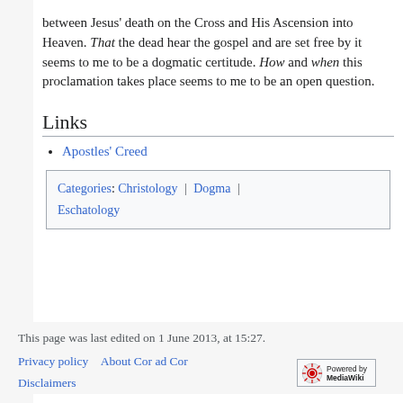between Jesus' death on the Cross and His Ascension into Heaven. That the dead hear the gospel and are set free by it seems to me to be a dogmatic certitude. How and when this proclamation takes place seems to me to be an open question.
Links
Apostles' Creed
Categories: Christology | Dogma | Eschatology
This page was last edited on 1 June 2013, at 15:27.
Privacy policy  About Cor ad Cor
Disclaimers